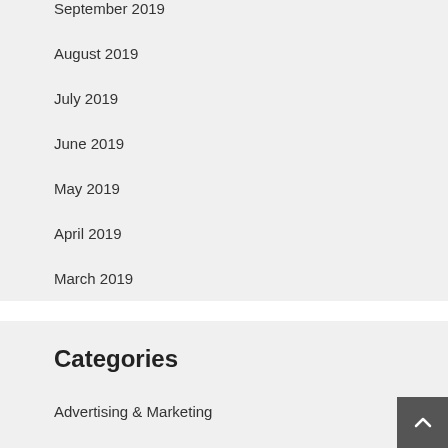September 2019
August 2019
July 2019
June 2019
May 2019
April 2019
March 2019
Categories
Advertising & Marketing
Banking
Blog Article